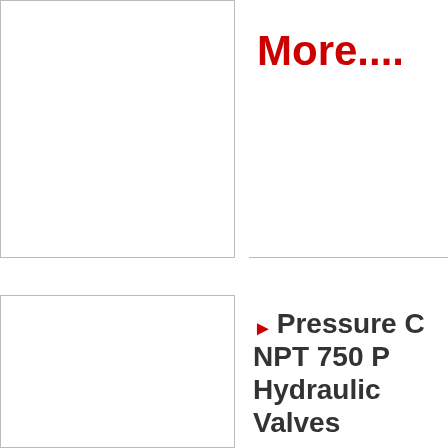[Figure (photo): Product image placeholder - top left cell, white/empty]
More....
[Figure (photo): Product image placeholder - bottom left cell, white/empty]
Pressure Control NPT 750 PSI Hydraulic Valves
USD 304